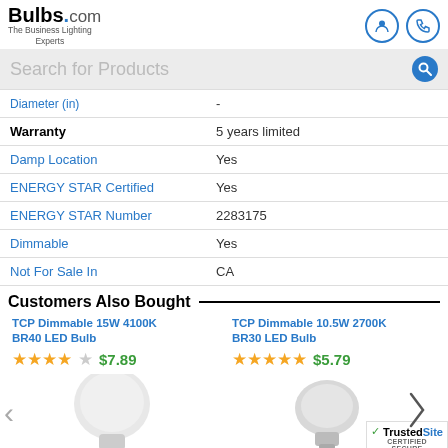[Figure (logo): Bulbs.com logo with tagline 'The Business Lighting Experts' and navigation icons]
[Figure (screenshot): Search bar with text 'Search for Products' and search icon]
| Attribute | Value |
| --- | --- |
| Diameter (in) | - |
| Warranty | 5 years limited |
| Damp Location | Yes |
| ENERGY STAR Certified | Yes |
| ENERGY STAR Number | 2283175 |
| Dimmable | Yes |
| Not For Sale In | CA |
Customers Also Bought
TCP Dimmable 15W 4100K BR40 LED Bulb — 3.5 stars — $7.89
TCP Dimmable 10.5W 2700K BR30 LED Bulb — 5 stars — $5.79
[Figure (photo): Two LED bulb product photos side by side with navigation arrows and TrustedSite certified badge]